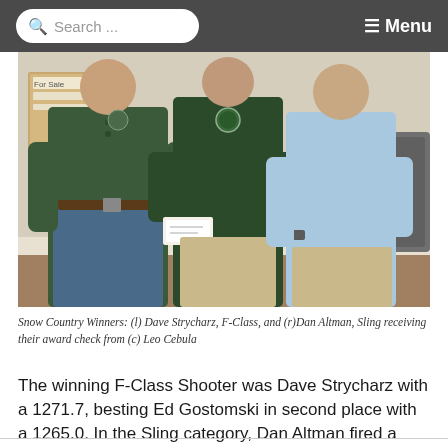Search ... Menu
[Figure (photo): Three men standing indoors. Left man wears dark green long-sleeve shirt and jeans, holding nothing visible. Center man in dark green sweatshirt holds a check. Right man in light blue polo shirt holds a check. Background shows a room with bulletin board and white trim.]
Snow Country Winners: (l) Dave Strycharz, F-Class, and (r)Dan Altman, Sling receiving their award check from (c) Leo Cebula
The winning F-Class Shooter was Dave Strycharz with a 1271.7, besting Ed Gostomski in second place with a 1265.0. In the Sling category, Dan Altman fired a 1247.3, beating his second place shooter, Gary Duda who had a 1233.4.